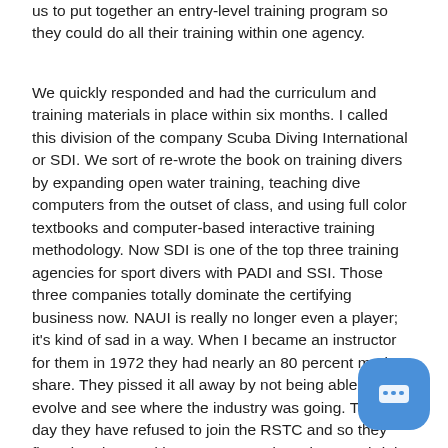us to put together an entry-level training program so they could do all their training within one agency.
We quickly responded and had the curriculum and training materials in place within six months. I called this division of the company Scuba Diving International or SDI. We sort of re-wrote the book on training divers by expanding open water training, teaching dive computers from the outset of class, and using full color textbooks and computer-based interactive training methodology. Now SDI is one of the top three training agencies for sport divers with PADI and SSI. Those three companies totally dominate the certifying business now. NAUI is really no longer even a player; it's kind of sad in a way. When I became an instructor for them in 1972 they had nearly an 80 percent market share. They pissed it all away by not being able to evolve and see where the industry was going. To this day they have refused to join the RSTC and so they floundered around in a vacuum and continue to shrink. They'll eventually go the way of NASDS and the YMCA program.